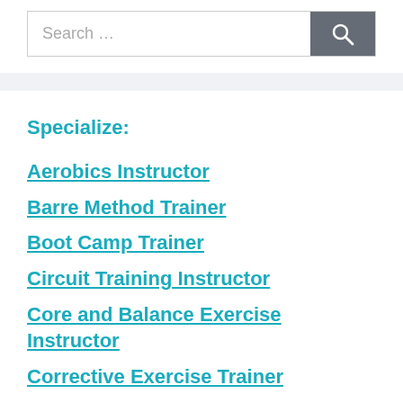[Figure (screenshot): Search bar with text input field showing 'Search …' placeholder and a dark gray search button with magnifying glass icon]
Specialize:
Aerobics Instructor
Barre Method Trainer
Boot Camp Trainer
Circuit Training Instructor
Core and Balance Exercise Instructor
Corrective Exercise Trainer
CrossFit Trainer